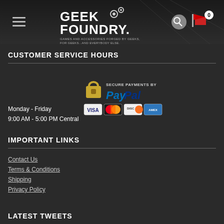[Figure (logo): Geek Foundry logo with hamburger menu, search icon, and cart icon in dark header]
CUSTOMER SERVICE HOURS
Monday - Friday
9:00 AM - 5:00 PM Central
[Figure (infographic): Secure Payments by PayPal badge with lock icon, PayPal logo, Visa, MasterCard, Discover, American Express card icons, and text NO PAYPAL ACCOUNT NEEDED]
IMPORTANT LINKS
Contact Us
Terms & Conditions
Shipping
Privacy Policy
LATEST TWEETS